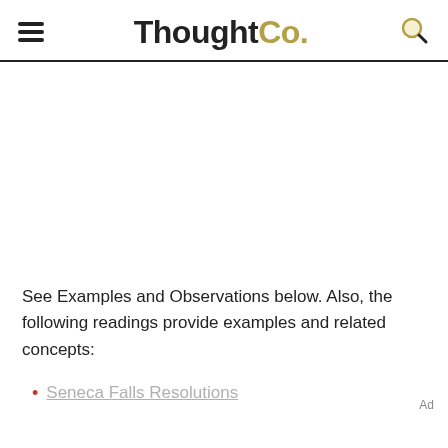ThoughtCo.
See Examples and Observations below. Also, the following readings provide examples and related concepts:
Seneca Falls Resolutions